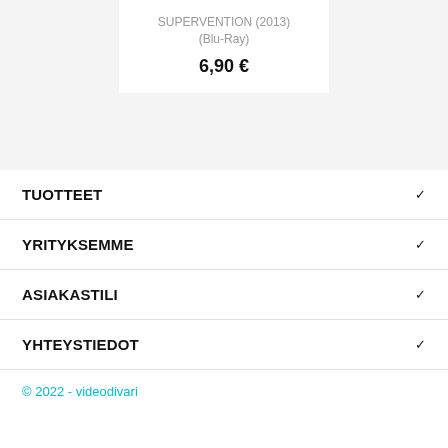SUPERVENTION (2013)
(Blu-Ray)
6,90 €
TUOTTEET
YRITYKSEMME
ASIAKASTILI
YHTEYSTIEDOT
© 2022 - videodivari